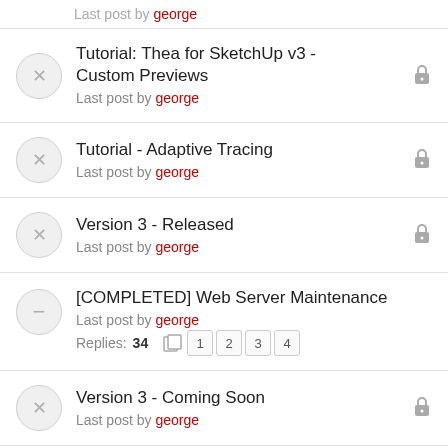Last post by george
Tutorial: Thea for SketchUp v3 - Custom Previews
Last post by george
Tutorial - Adaptive Tracing
Last post by george
Version 3 - Released
Last post by george
[COMPLETED] Web Server Maintenance
Last post by george
Replies: 34   1 2 3 4
Version 3 - Coming Soon
Last post by george
Introducing the official Instagram Channel
Last post by george